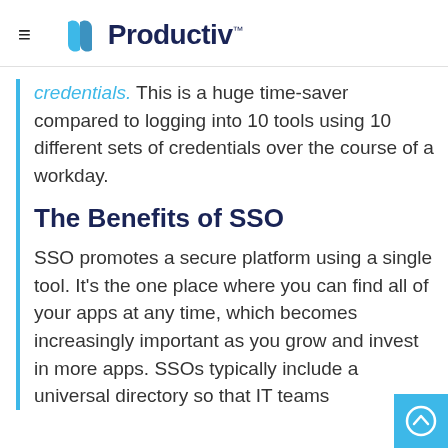≡  Productiv™
credentials. This is a huge time-saver compared to logging into 10 tools using 10 different sets of credentials over the course of a workday.
The Benefits of SSO
SSO promotes a secure platform using a single tool. It's the one place where you can find all of your apps at any time, which becomes increasingly important as you grow and invest in more apps. SSOs typically include a universal directory so that IT teams